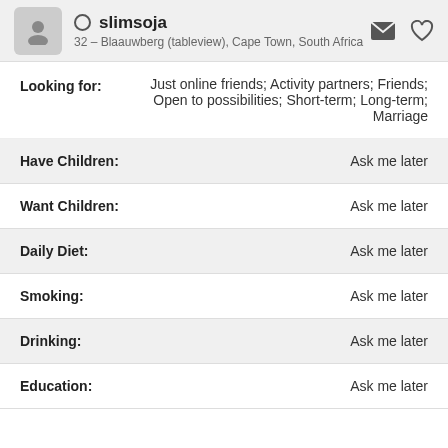slimsoja — 32 – Blaauwberg (tableview), Cape Town, South Africa
Looking for: Just online friends; Activity partners; Friends; Open to possibilities; Short-term; Long-term; Marriage
| Field | Value |
| --- | --- |
| Have Children: | Ask me later |
| Want Children: | Ask me later |
| Daily Diet: | Ask me later |
| Smoking: | Ask me later |
| Drinking: | Ask me later |
| Education: | Ask me later |